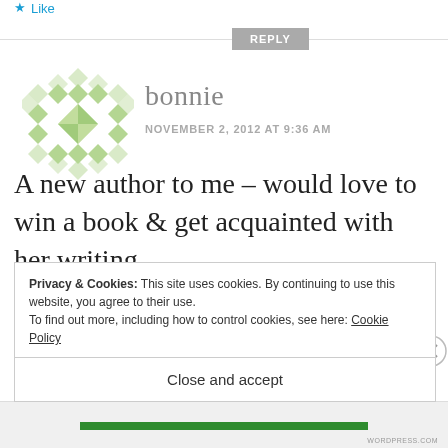Like
REPLY
[Figure (illustration): Green geometric quilt-pattern avatar icon]
bonnie
NOVEMBER 2, 2012 AT 9:36 AM
A new author to me – would love to win a book & get acquainted with her writing.
Privacy & Cookies: This site uses cookies. By continuing to use this website, you agree to their use.
To find out more, including how to control cookies, see here: Cookie Policy
Close and accept